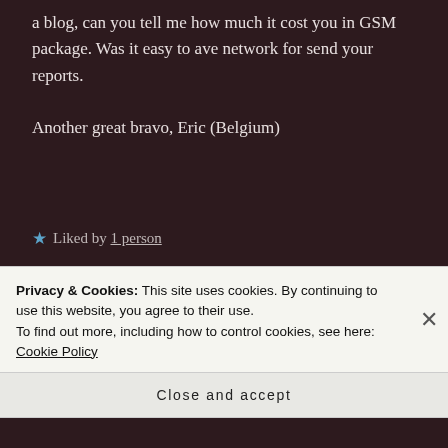a blog, can you tell me how much it cost you in GSM package. Was it easy to ave network for send your reports.

Another great bravo, Eric (Belgium)
★ Liked by 1 person
HELLO MOUNTAINS says: Reply
February 24, 2017 at 6:34 am
Privacy & Cookies: This site uses cookies. By continuing to use this website, you agree to their use.
To find out more, including how to control cookies, see here: Cookie Policy
Close and accept